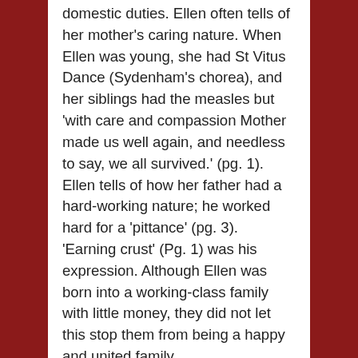domestic duties. Ellen often tells of her mother's caring nature. When Ellen was young, she had St Vitus Dance (Sydenham's chorea), and her siblings had the measles but 'with care and compassion Mother made us well again, and needless to say, we all survived.' (pg. 1). Ellen tells of how her father had a hard-working nature; he worked hard for a 'pittance' (pg. 3). 'Earning crust' (Pg. 1) was his expression. Although Ellen was born into a working-class family with little money, they did not let this stop them from being a happy and united family.